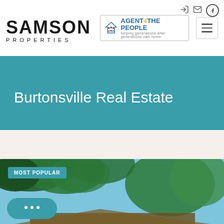[Figure (logo): Samson Properties logo with large SAMSON text and PROPERTIES subtitle beneath]
[Figure (logo): Agent 4 The People logo with house icon and tagline helping generations after generations own home]
Burtonsville Real Estate
MOST POPULAR
[Figure (photo): Outdoor real estate photo showing leafy green trees and blue sky with a house roofline visible at the bottom]